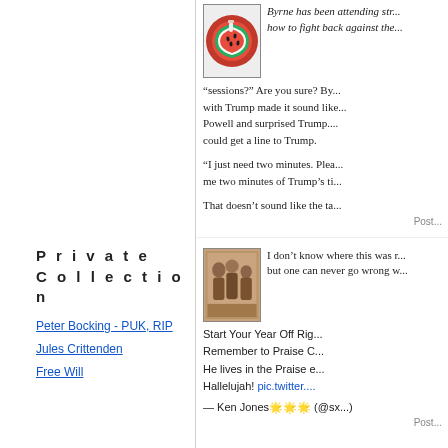[Figure (photo): Thumbnail image of a watermelon slice on a red circular background]
Byrne has been attending str... how to fight back against the...
“sessions?” Are you sure? By... with Trump made it sound like... Powell and surprised Trump.... could get a line to Trump.
“I just need two minutes. Plea... me two minutes of Trump’s ti...
That doesn’t sound like the ta...
Post...
[Figure (photo): Sepia-toned thumbnail photograph of three people, appears vintage]
I don’t know where this was r... but one can never go wrong w...
Start Your Year Off Rig...
Remember to Praise C...
He lives in the Praise e...
Hallelujah! pic.twitter....
— Ken Jones🌟🌟🌟 (@sx...)
Post...
P r i v a t e
C o l l e c t i o n
Peter Bocking - PUK, RIP
Jules Crittenden
Free Will